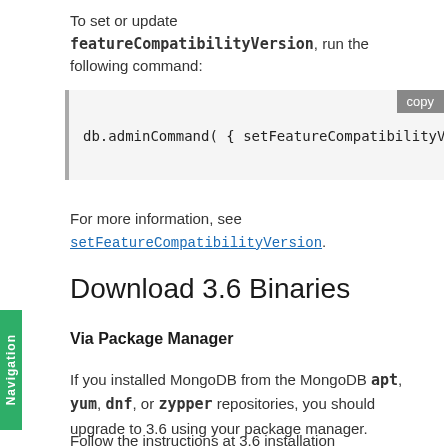To set or update featureCompatibilityVersion, run the following command:
db.adminCommand( { setFeatureCompatibilityVersi
For more information, see setFeatureCompatibilityVersion.
Download 3.6 Binaries
Via Package Manager
If you installed MongoDB from the MongoDB apt, yum, dnf, or zypper repositories, you should upgrade to 3.6 using your package manager.
Follow the instructions at 3.6 installation instructions for